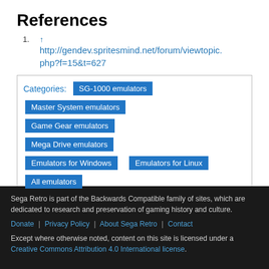References
↑ http://gendev.spritesmind.net/forum/viewtopic.php?f=15&t=627
Categories: SG-1000 emulators | Master System emulators | Game Gear emulators | Mega Drive emulators | Emulators for Windows | Emulators for Linux | All emulators
Sega Retro is part of the Backwards Compatible family of sites, which are dedicated to research and preservation of gaming history and culture. Donate | Privacy Policy | About Sega Retro | Contact. Except where otherwise noted, content on this site is licensed under a Creative Commons Attribution 4.0 International license.